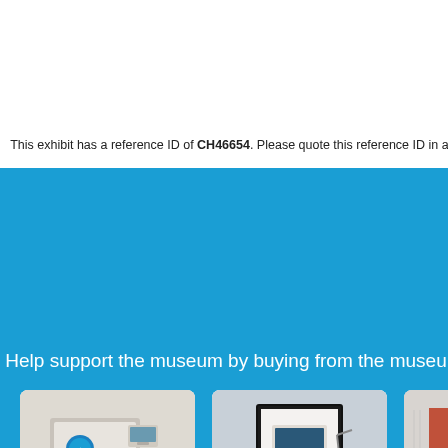This exhibit has a reference ID of CH46654. Please quote this reference ID in any commun…
Help support the museum by buying from the museum shop
[Figure (photo): Museum shop product card: Icons of Beige - Postcard Set showing postcard designs with vintage computer imagery]
[Figure (photo): Museum shop product card: Icons of Beige - Poster Prints showing a framed retro computer poster]
[Figure (photo): Museum shop product card: partially visible, labeled Offi... John...]
[Figure (photo): Museum shop product card bottom row: Ada, Countess of Lovelace related print]
[Figure (photo): Museum shop product card bottom row: dark product item]
[Figure (photo): Museum shop product card bottom row: partially visible dark product]